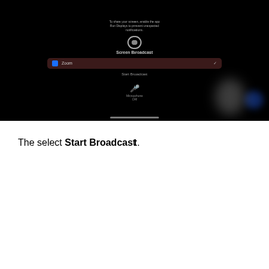[Figure (screenshot): iOS Screen Broadcast panel on dark background showing a record button circle, 'Screen Broadcast' label, Zoom option with checkmark, 'Start Broadcast' button, microphone icon with label, and a white/blue blurred shape on the right. Home indicator bar at bottom.]
The select Start Broadcast.
[Figure (screenshot): iOS screen with red recording status bar at top, dark background, a blurred popup notification in the center, and a dark rounded rectangle panel showing Screen Broadcast interface with Zoom listed.]